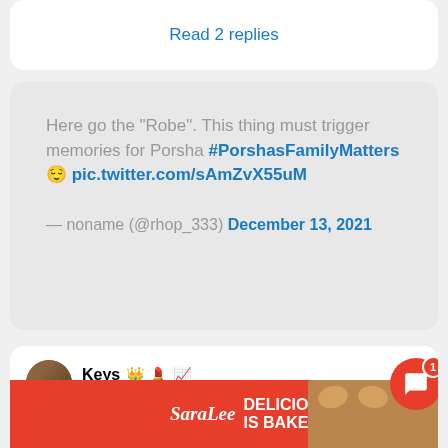Read 2 replies
Here go the “Robe”. This thing must trigger memories for Porsha #PorshasFamilyMatters 😌️ pic.twitter.com/sAmZvX55uM
— noname (@rhop_333) December 13, 2021
Keys 👑 💄 📈
@miss_brown84 · Follow
Porsha want that robe in the house so can #Po
[Figure (advertisement): Sara Lee ad banner: red background with white text reading DELICIOUS IS BAKED-IN, with Sara Lee logo and bread with heart-shaped butter]